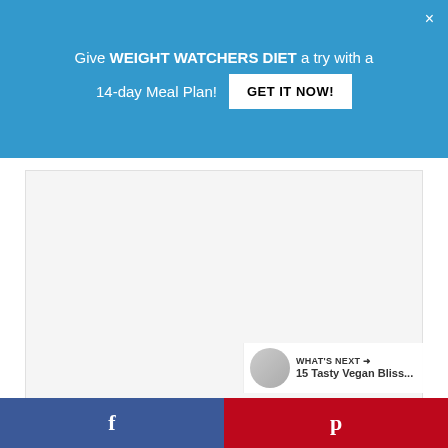Give WEIGHT WATCHERS DIET a try with a 14-day Meal Plan! GET IT NOW!
[Figure (other): Advertisement placeholder box]
Check it here.
5. Vegan Mexican Macaroni Bake
Creamy, flavorful Vegan Mexican Macaroni Bake pasta dinner that will satisfy as only macaroni and cheese can, but without the dairy. Tomato
f   p